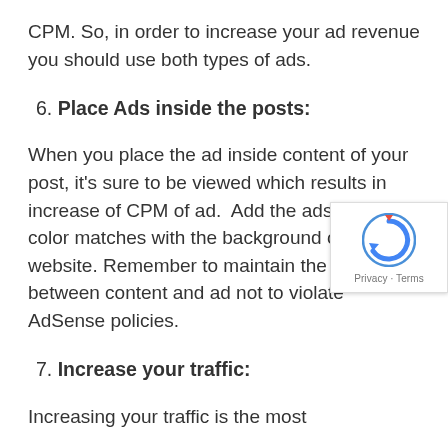CPM. So, in order to increase your ad revenue you should use both types of ads.
6. Place Ads inside the posts:
When you place the ad inside content of your post, it's sure to be viewed which results in increase of CPM of ad. Add the ads whose color matches with the background of your website. Remember to maintain the space between content and ad not to violate AdSense policies.
7. Increase your traffic:
Increasing your traffic is the most